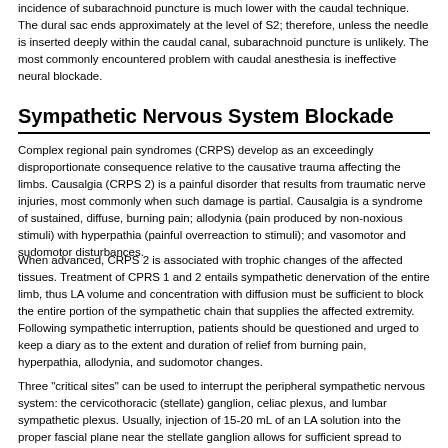incidence of subarachnoid puncture is much lower with the caudal technique. The dural sac ends approximately at the level of S2; therefore, unless the needle is inserted deeply within the caudal canal, subarachnoid puncture is unlikely. The most commonly encountered problem with caudal anesthesia is ineffective neural blockade.
Sympathetic Nervous System Blockade
Complex regional pain syndromes (CRPS) develop as an exceedingly disproportionate consequence relative to the causative trauma affecting the limbs. Causalgia (CRPS 2) is a painful disorder that results from traumatic nerve injuries, most commonly when such damage is partial. Causalgia is a syndrome of sustained, diffuse, burning pain; allodynia (pain produced by non-noxious stimuli) with hyperpathia (painful overreaction to stimuli); and vasomotor and sudomotor disturbances.
When advanced, CRPS 2 is associated with trophic changes of the affected tissues. Treatment of CPRS 1 and 2 entails sympathetic denervation of the entire limb, thus LA volume and concentration with diffusion must be sufficient to block the entire portion of the sympathetic chain that supplies the affected extremity. Following sympathetic interruption, patients should be questioned and urged to keep a diary as to the extent and duration of relief from burning pain, hyperpathia, allodynia, and sudomotor changes.
Three "critical sites" can be used to interrupt the peripheral sympathetic nervous system: the cervicothoracic (stellate) ganglion, celiac plexus, and lumbar sympathetic plexus. Usually, injection of 15-20 mL of an LA solution into the proper fascial plane near the stellate ganglion allows for sufficient spread to block the sympathetic chain from the superior cervical ganglion to